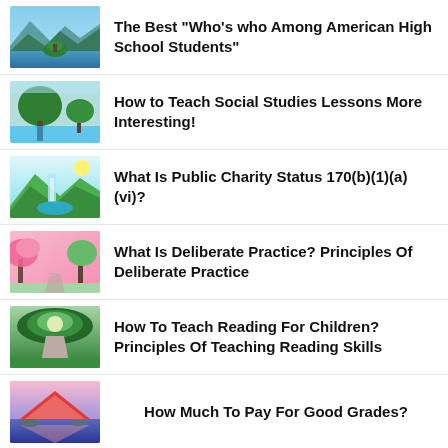The Best “Who’s who Among American High School Students”
How to Teach Social Studies Lessons More Interesting!
What Is Public Charity Status 170(b)(1)(a)(vi)?
What Is Deliberate Practice? Principles Of Deliberate Practice
How To Teach Reading For Children? Principles Of Teaching Reading Skills
How Much To Pay For Good Grades?
How To Check Injured Spouse Refund